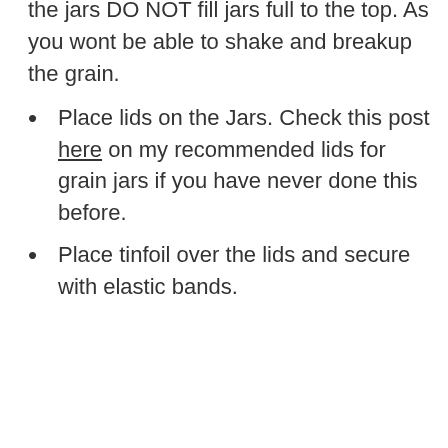the jars DO NOT fill jars full to the top. As you wont be able to shake and breakup the grain.
Place lids on the Jars. Check this post here on my recommended lids for grain jars if you have never done this before.
Place tinfoil over the lids and secure with elastic bands.